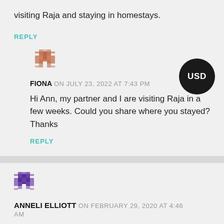visiting Raja and staying in homestays.
REPLY
FIONA ON JULY 23, 2022 AT 7:43 PM
Hi Ann, my partner and I are visiting Raja in a few weeks. Could you share where you stayed? Thanks
REPLY
ANNELI ELLIOTT ON FEBRUARY 29, 2020 AT 4:46 AM